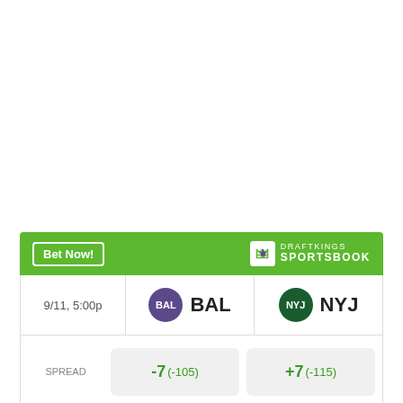[Figure (screenshot): DraftKings Sportsbook betting widget showing BAL vs NYJ game on 9/11, 5:00p with spread, money line, and over/under odds.]
|  | BAL | NYJ |
| --- | --- | --- |
| 9/11, 5:00p | BAL | NYJ |
| SPREAD | -7 (-105) | +7 (-115) |
| MONEY LINE | -280 | +235 |
| OVER UNDER | > 44.5 (-105) |  |